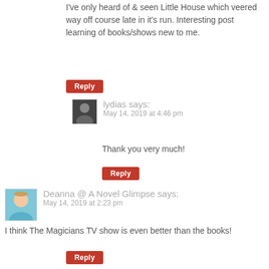I've only heard of & seen Little House which veered way off course late in it's run. Interesting post learning of books/shows new to me.
Reply
lydias says: May 14, 2019 at 4:46 pm
Thank you very much!
Reply
Deanna @ A Novel Glimpse says: May 14, 2019 at 2:23 pm
I think The Magicians TV show is even better than the books!
Reply
lydias says: May 14, 2019 at 4:46 pm